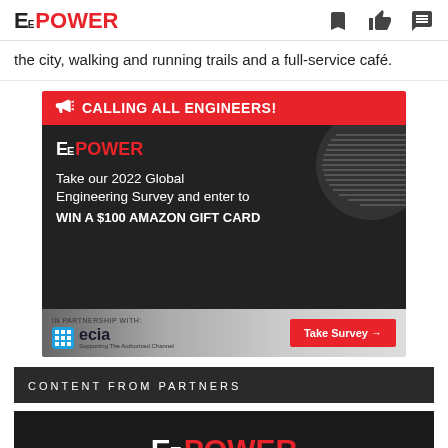EE POWER
the city, walking and running trails and a full-service café.
[Figure (infographic): EE Power advertisement: 'Calling All Engineers!' banner. Dark background with EE POWER logo, abstract speed lines graphic. Text reads: 'Take our 2022 Global Engineering Survey and enter to WIN A $100 AMAZON GIFT CARD'. Bottom section shows ECIA partnership logo and a red 'Take Survey →' button.]
CONTENT FROM PARTNERS
[Figure (logo): EE POWER logo on dark background, white EE and red POWER text]